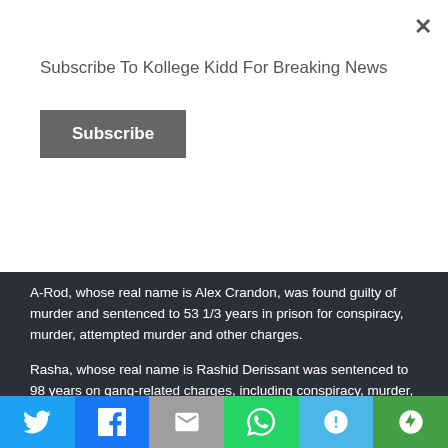Subscribe To Kollege Kidd For Breaking News
Subscribe
A-Rod, whose real name is Alex Crandon, was found guilty of murder and sentenced to 53 1/3 years in prison for conspiracy, murder, attempted murder and other charges.
Rasha, whose real name is Rashid Derissant was sentenced to 98 years on gang-related charges, including conspiracy, murder, attempted murder and assault.
Bobby wasn't alone in accepting a plea deal. Bobby's GS9 brothers Chad “Rowdy Rebel” Marshall and Nicholas McCoy also accepted a 7-year plea deal from the prosecution.